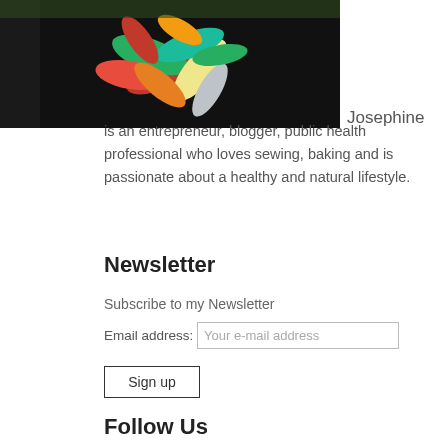[Figure (photo): Photo of a person wearing a floral/leaf patterned top, cropped to show torso area against a dark background with green foliage]
Josephine is an entrepreneur, blogger, public health professional who loves sewing, baking and is passionate about a healthy and natural lifestyle.
Newsletter
Subscribe to my Newsletter
Email address: Your e-mail address
Sign up
Follow Us
5.1k Follows
[Figure (logo): Pinterest logo — white P on red circle]
Pinterest